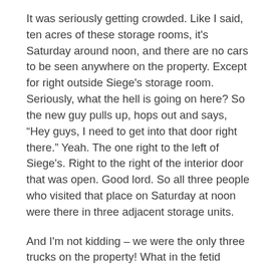It was seriously getting crowded. Like I said, ten acres of these storage rooms, it's Saturday around noon, and there are no cars to be seen anywhere on the property. Except for right outside Siege's storage room. Seriously, what the hell is going on here? So the new guy pulls up, hops out and says, “Hey guys, I need to get into that door right there.” Yeah. The one right to the left of Siege's. Right to the right of the interior door that was open. Good lord. So all three people who visited that place on Saturday at noon were there in three adjacent storage units.
And I'm not kidding – we were the only three trucks on the property! What in the fetid maggot-infested whale snot is going on here? So what this tells me is that the front office uses some really sophisticated demographics graphs when renting these places. They put people next to each other who will be likely to visit on the same day at the same time so that they can – – what… Wait, why? So they can promote, condone and kindle new friendships? Enemyships? The dude was all right, but the two big